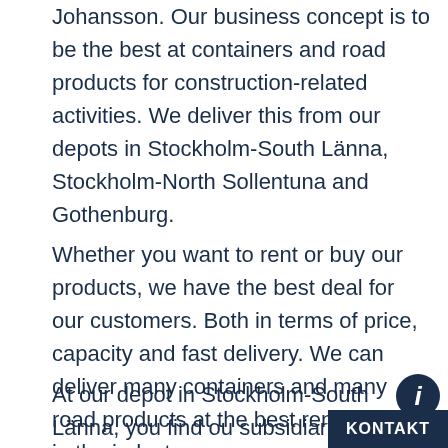Johansson. Our business concept is to be the best at containers and road products for construction-related activities. We deliver this from our depots in Stockholm-South Länna, Stockholm-North Sollentuna and Gothenburg.
Whether you want to rent or buy our products, we have the best deal for our customers. Both in terms of price, capacity and fast delivery. We can deliver many containers and many road products at the best rental price in the industry.
At our depot in Stockholm-South Länna, you find our subsidiary Stockholms Containertjänst AB. They offer inspections and repairs of incoming shipping